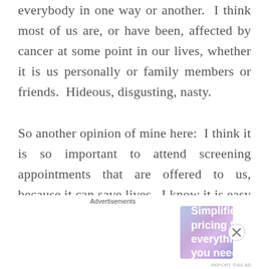everybody in one way or another.  I think most of us are, or have been, affected by cancer at some point in our lives, whether it is us personally or family members or friends.  Hideous, disgusting, nasty.

So another opinion of mine here:  I think it is so important to attend screening appointments that are offered to us, because it can save lives.  I know it is easy to put off things when you are busy, but what's more important than your health?  I do understand though because I'm
Advertisements
[Figure (other): WordPress.com advertisement banner with text 'Simplified pricing for everything you need.' and WordPress.com logo on a purple-blue gradient background.]